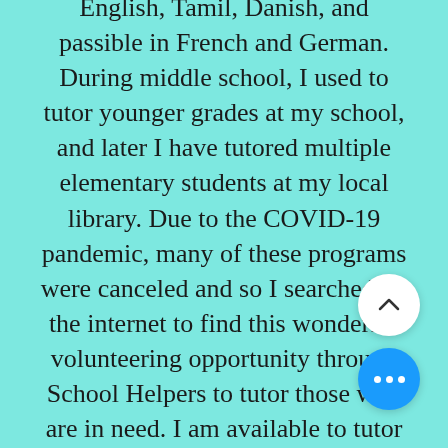English, Tamil, Danish, and passible in French and German. During middle school, I used to tutor younger grades at my school, and later I have tutored multiple elementary students at my local library. Due to the COVID-19 pandemic, many of these programs were canceled and so I searched on the internet to find this wonderful volunteering opportunity through School Helpers to tutor those who are in need. I am available to tutor grade 3-8 students with English, Math, and Science. In my free time, I love to read books, write stories/poems, watch movies, and spend quality time with my little sister. Tutoring has
[Figure (other): A circular white navigation button with an upward-pointing chevron arrow, overlaid on the text content]
[Figure (other): A circular blue button with three white dots (ellipsis/more options), overlaid on the text content]